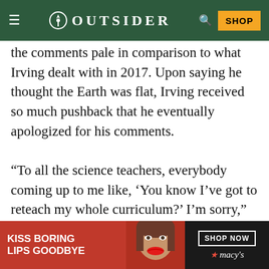OUTSIDER
the comments pale in comparison to what Irving dealt with in 2017. Upon saying he thought the Earth was flat, Irving received so much pushback that he eventually apologized for his comments.
“To all the science teachers, everybody coming up to me like, ‘You know I’ve got to reteach my whole curriculum?’ I’m sorry,” Irving said. “I apologize. I apologize.”
[Figure (screenshot): Macy's advertisement banner at the bottom: red background with text 'KISS BORING LIPS GOODBYE', a woman's face with red lips, and a 'SHOP NOW' button with Macy's star logo on dark background]